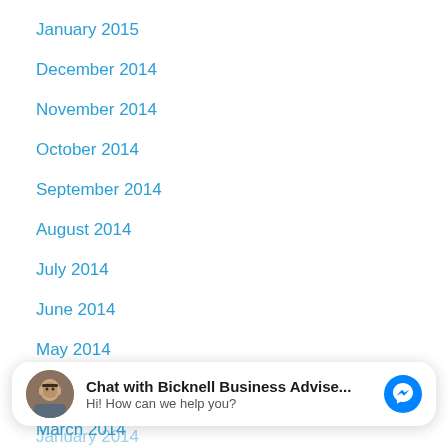January 2015
December 2014
November 2014
October 2014
September 2014
August 2014
July 2014
June 2014
May 2014
April 2014
March 2014
[Figure (screenshot): Facebook Messenger chat widget showing 'Chat with Bicknell Business Advise...' with avatar photo of a man with glasses, subtitle 'Hi! How can we help you?' and blue Messenger icon]
January 2014
December 2013